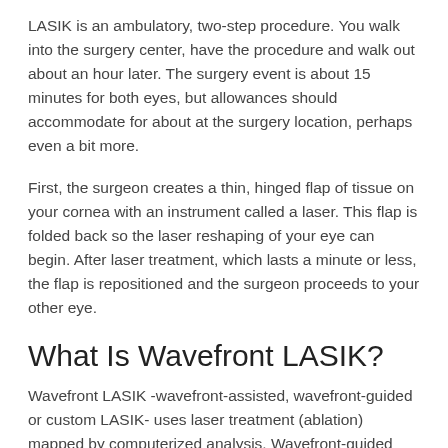LASIK is an ambulatory, two-step procedure. You walk into the surgery center, have the procedure and walk out about an hour later. The surgery event is about 15 minutes for both eyes, but allowances should accommodate for about at the surgery location, perhaps even a bit more.
First, the surgeon creates a thin, hinged flap of tissue on your cornea with an instrument called a laser. This flap is folded back so the laser reshaping of your eye can begin. After laser treatment, which lasts a minute or less, the flap is repositioned and the surgeon proceeds to your other eye.
What Is Wavefront LASIK?
Wavefront LASIK -wavefront-assisted, wavefront-guided or custom LASIK- uses laser treatment (ablation) mapped by computerized analysis. Wavefront-guided